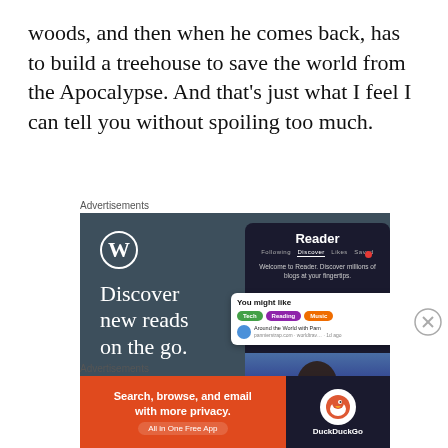woods, and then when he comes back, has to build a treehouse to save the world from the Apocalypse. And that's just what I feel I can tell you without spoiling too much.
Advertisements
[Figure (screenshot): WordPress Reader app advertisement with dark teal background. Shows WordPress logo, tagline 'Discover new reads on the go.', phone screenshot of Reader app interface, 'You might like' panel with tech/reading/music tags, and 'GET THE APP' call to action.]
Advertisements
[Figure (screenshot): DuckDuckGo advertisement with orange left panel saying 'Search, browse, and email with more privacy. All in One Free App' and dark right panel with DuckDuckGo logo.]